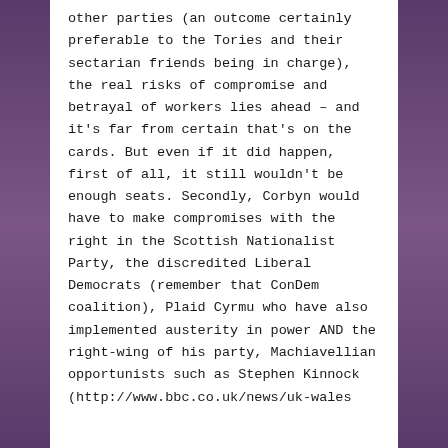other parties (an outcome certainly preferable to the Tories and their sectarian friends being in charge), the real risks of compromise and betrayal of workers lies ahead – and it's far from certain that's on the cards. But even if it did happen, first of all, it still wouldn't be enough seats. Secondly, Corbyn would have to make compromises with the right in the Scottish Nationalist Party, the discredited Liberal Democrats (remember that ConDem coalition), Plaid Cyrmu who have also implemented austerity in power AND the right-wing of his party, Machiavellian opportunists such as Stephen Kinnock (http://www.bbc.co.uk/news/uk-wales...